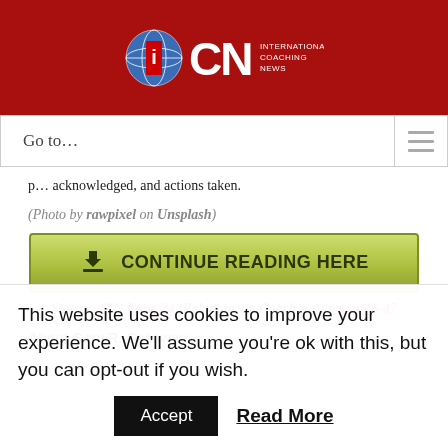[Figure (logo): ICN International Coaching News logo with globe graphic on dark red header background]
Go to...
…p… acknowledged, and actions taken.
(Photo by rawpixel on Unsplash)
[Figure (other): Green button: download icon + CONTINUE READING HERE]
Source: iCN Issue 24 (Relationship Coaching); pages 46-47
About Gary R. Gasaway
This website uses cookies to improve your experience. We'll assume you're ok with this, but you can opt-out if you wish.